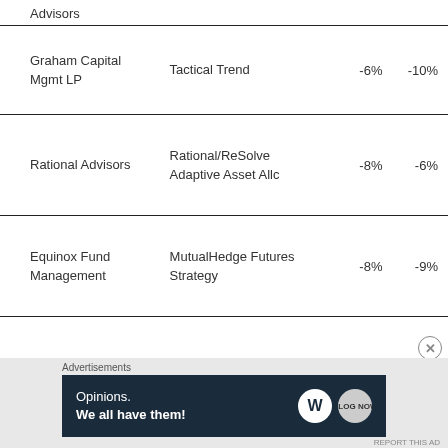Advisors
| Advisor | Strategy | Val1 | Val2 |
| --- | --- | --- | --- |
| Graham Capital Mgmt LP | Tactical Trend | -6% | -10% |
| Rational Advisors | Rational/ReSolve Adaptive Asset Allc | -8% | -6% |
| Equinox Fund Management | MutualHedge Futures Strategy | -8% | -9% |
[Figure (screenshot): Advertisement banner: Opinions. We all have them! with WordPress and Blog logo icons on dark navy background.]